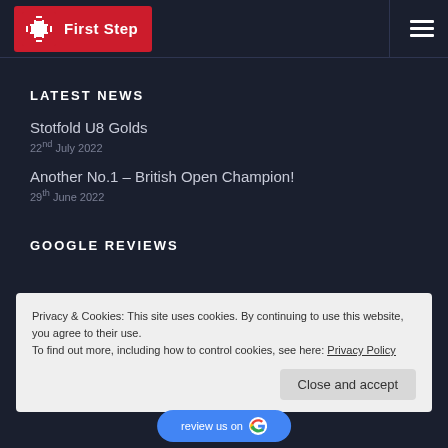First Step
LATEST NEWS
Stotfold U8 Golds
22nd July 2022
Another No.1 – British Open Champion!
29th June 2022
GOOGLE REVIEWS
Privacy & Cookies: This site uses cookies. By continuing to use this website, you agree to their use.
To find out more, including how to control cookies, see here: Privacy Policy
Close and accept
review us on